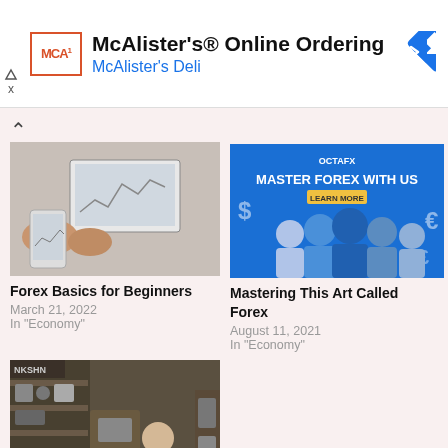[Figure (screenshot): McAlister's Deli ad banner with logo, title 'McAlister's® Online Ordering', subtitle 'McAlister's Deli', and blue navigation arrow icon]
[Figure (photo): Person using laptop and phone, appearing to analyze financial/forex charts]
Forex Basics for Beginners
March 21, 2022
In "Economy"
[Figure (photo): OctaFX advertisement banner: 'MASTER FOREX WITH US LEARN MORE' with group of smiling people and currency symbols]
Mastering This Art Called Forex
August 11, 2021
In "Economy"
[Figure (photo): Older man in a small industrial workshop or machine shop, wearing a white t-shirt]
How a Small Business Owner Can Invest in Forex
May 16, 2022